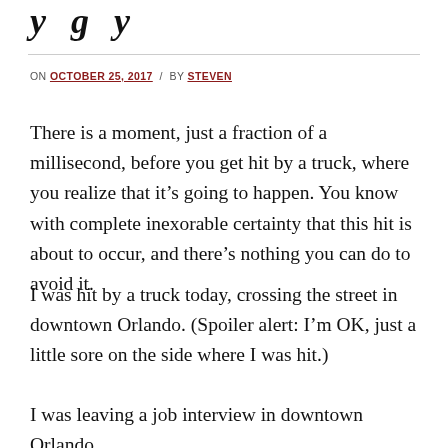y   g   y
ON OCTOBER 25, 2017 / BY STEVEN
There is a moment, just a fraction of a millisecond, before you get hit by a truck, where you realize that it’s going to happen. You know with complete inexorable certainty that this hit is about to occur, and there’s nothing you can do to avoid it.
I was hit by a truck today, crossing the street in downtown Orlando. (Spoiler alert: I’m OK, just a little sore on the side where I was hit.)
I was leaving a job interview in downtown Orlando,